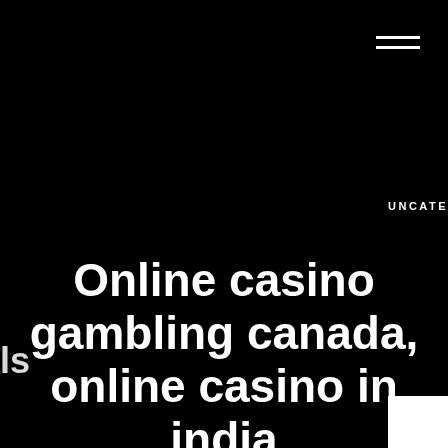≡
UNCATEGORIZED
Online casino gambling canada, online casino in india